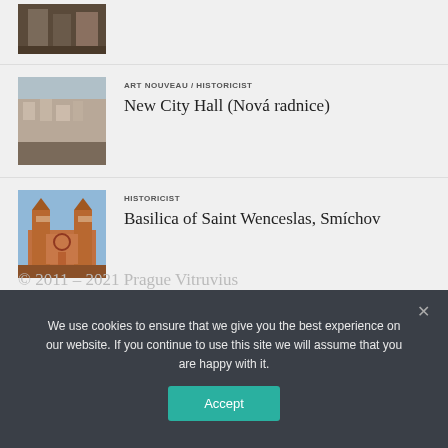[Figure (photo): Partial view of a building facade, cropped at top]
[Figure (photo): Art Nouveau building facade with sculptural details]
ART NOUVEAU / HISTORICIST
New City Hall (Nová radnice)
[Figure (photo): Basilica with two towers, red brick facade]
HISTORICIST
Basilica of Saint Wenceslas, Smíchov
© 2011 – 2021 Prague Vitruvius
We use cookies to ensure that we give you the best experience on our website. If you continue to use this site we will assume that you are happy with it.